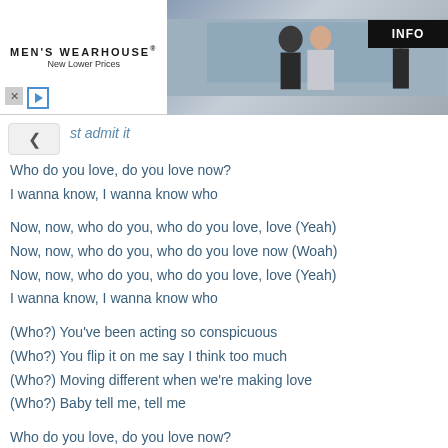[Figure (photo): Men's Wearhouse advertisement banner showing a couple in formal wear and a man in a suit, with INFO button]
st admit it
Who do you love, do you love now?
I wanna know, I wanna know who
Now, now, who do you, who do you love, love (Yeah)
Now, now, who do you, who do you love now (Woah)
Now, now, who do you, who do you love, love (Yeah)
I wanna know, I wanna know who
(Who?) You've been acting so conspicuous
(Who?) You flip it on me say I think too much
(Who?) Moving different when we're making love
(Who?) Baby tell me, tell me
Who do you love, do you love now?
I wanna know the truth (Woah)
Who do you love, do you love now?